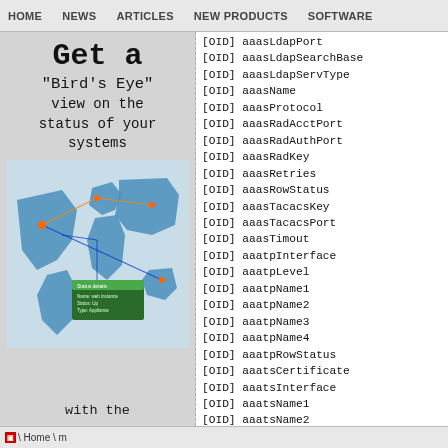HOME  NEWS  ARTICLES  NEW PRODUCTS  SOFTWARE
[Figure (illustration): Advertisement banner showing 'Get a Bird's Eye view on the status of your systems with the' text over a gray background, with a world map network monitoring image below.]
[OID] aaasLdapPort
[OID] aaasLdapSearchBase
[OID] aaasLdapServType
[OID] aaasName
[OID] aaasProtocol
[OID] aaasRadAcctPort
[OID] aaasRadAuthPort
[OID] aaasRadKey
[OID] aaasRetries
[OID] aaasRowStatus
[OID] aaasTacacsKey
[OID] aaasTacacsPort
[OID] aaasTimout
[OID] aaatpInterface
[OID] aaatpLevel
[OID] aaatpName1
[OID] aaatpName2
[OID] aaatpName3
[OID] aaatpName4
[OID] aaatpRowStatus
[OID] aaatsCertificate
[OID] aaatsInterface
[OID] aaatsName1
[OID] aaatsName2
[OID] aaatsName3
▣ \ Home \ m